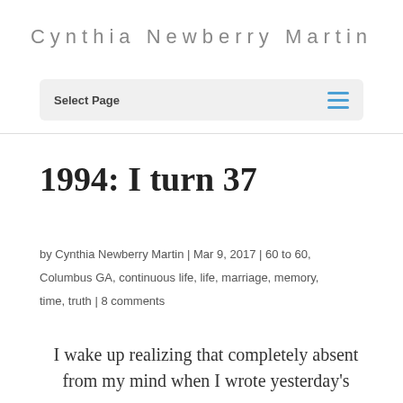Cynthia Newberry Martin
Select Page
1994: I turn 37
by Cynthia Newberry Martin | Mar 9, 2017 | 60 to 60, Columbus GA, continuous life, life, marriage, memory, time, truth | 8 comments
I wake up realizing that completely absent from my mind when I wrote yesterday's